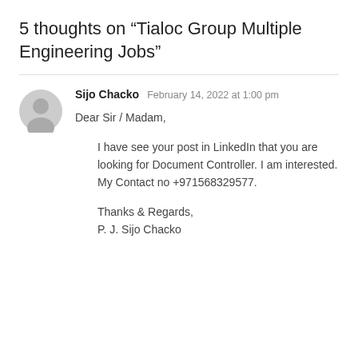5 thoughts on “Tialoc Group Multiple Engineering Jobs”
Sijo Chacko  February 14, 2022 at 1:00 pm

Dear Sir / Madam,

I have see your post in LinkedIn that you are looking for Document Controller. I am interested. My Contact no +971568329577.

Thanks & Regards,
P. J. Sijo Chacko